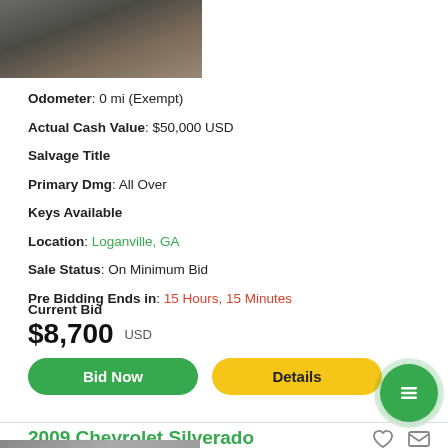[Figure (photo): Partial view of a damaged vehicle undercarriage/wheel area on gravel surface]
Odometer: 0 mi (Exempt)
Actual Cash Value: $50,000 USD
Salvage Title
Primary Dmg: All Over
Keys Available
Location: Loganville, GA
Sale Status: On Minimum Bid
Pre Bidding Ends in: 15 Hours, 15 Minutes
Current Bid
$8,700 USD
Bid Now
Details
2009 Chevrolet Silverado
[Figure (photo): Partial view of another vehicle listing photo]